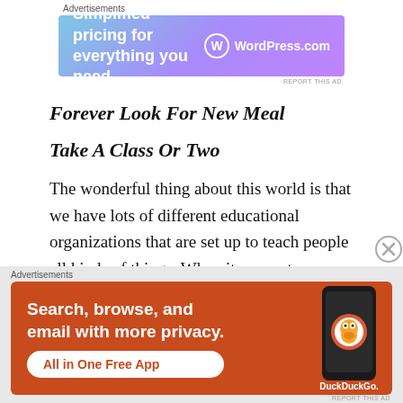Advertisements
[Figure (screenshot): WordPress.com advertisement banner with gradient blue-purple background. Text reads 'Simplified pricing for everything you need.' with WordPress.com logo on the right.]
REPORT THIS AD
Forever Look For New Meal
Take A Class Or Two
The wonderful thing about this world is that we have lots of different educational organizations that are set up to teach people all kinds of things. When it comes to nutrition, you have a few options in terms of your learning. You can do a nutrition
Advertisements
[Figure (screenshot): DuckDuckGo advertisement banner with orange/red background. Text reads 'Search, browse, and email with more privacy. All in One Free App' with DuckDuckGo logo and phone image on right.]